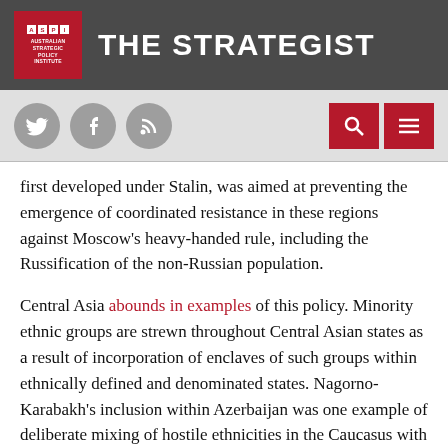THE STRATEGIST — Australian Strategic Policy Institute
first developed under Stalin, was aimed at preventing the emergence of coordinated resistance in these regions against Moscow's heavy-handed rule, including the Russification of the non-Russian population.
Central Asia abounds in examples of this policy. Minority ethnic groups are strewn throughout Central Asian states as a result of incorporation of enclaves of such groups within ethnically defined and denominated states. Nagorno-Karabakh's inclusion within Azerbaijan was one example of deliberate mixing of hostile ethnicities in the Caucasus with the same goal in mind.
The lid was kept on Armenian–Azerbaijani hostility, especially in Nagorno-Karabakh, as long as both Azerbaijan and Armenia formed part of the Soviet Union. However, with the…